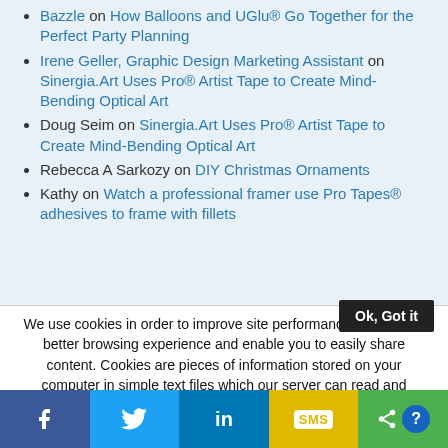Bazzle on How Balloons and UGlu® Go Together for the Perfect Party Planning
Irene Geller, Graphic Design Marketing Assistant on Sinergia.Art Uses Pro® Artist Tape to Create Mind-Bending Optical Art
Doug Seim on Sinergia.Art Uses Pro® Artist Tape to Create Mind-Bending Optical Art
Rebecca A Sarkozy on DIY Christmas Ornaments
Kathy on Watch a professional framer use Pro Tapes® adhesives to frame with fillets
We use cookies in order to improve site performance, offer you a better browsing experience and enable you to easily share content. Cookies are pieces of information stored on your computer in simple text files which our server can read and record. These files do not contain any sensitive information. By continuing to browse our site, you agree to the use of cookies.
[Figure (infographic): Social share bar with Facebook, Twitter, LinkedIn, SMS, and share buttons]